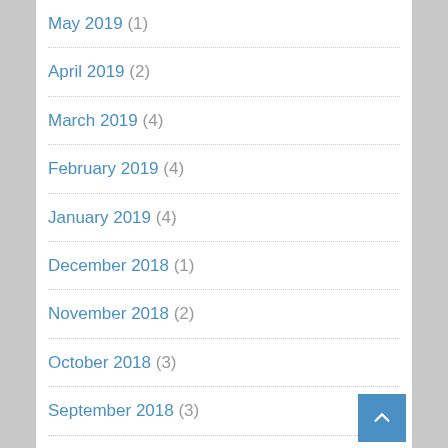May 2019 (1)
April 2019 (2)
March 2019 (4)
February 2019 (4)
January 2019 (4)
December 2018 (1)
November 2018 (2)
October 2018 (3)
September 2018 (3)
August 2018 (3)
July 2018 (4)